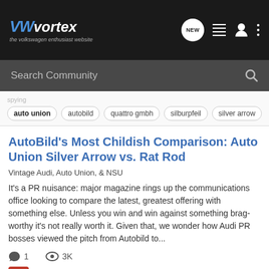VWvortex — the volkswagen enthusiast website
Search Community
auto union
autobild
quattro gmbh
silburpfeil
silver arrow
AutoBild's Most Childish Comparison: Auto Union Silver Arrow vs. Rat Rod
Vintage Audi, Auto Union, & NSU
It's a PR nuisance: major magazine rings up the communications office looking to compare the latest, greatest offering with something else. Unless you win and win against something brag-worthy it's not really worth it. Given that, we wonder how Audi PR bosses viewed the pitch from Autobild to...
1   3K
George@Fourtitude · Aug 4, 2010